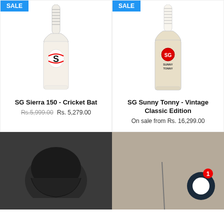[Figure (photo): SG Sierra 150 cricket bat product photo with SALE badge]
[Figure (photo): SG Sunny Tonny Vintage Classic Edition cricket bat product photo with SALE badge]
SG Sierra 150 - Cricket Bat
Rs.5,999.00 Rs. 5,279.00
SG Sunny Tonny - Vintage Classic Edition
On sale from Rs. 16,299.00
[Figure (photo): Dark colored cricket helmet on dark background]
[Figure (photo): Cricket equipment on sandy/rough background with chat widget showing badge 1]